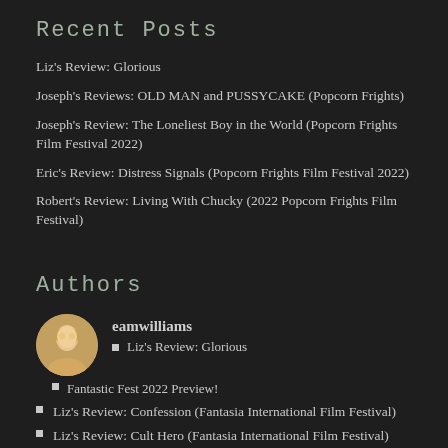Recent Posts
Liz's Review: Glorious
Joseph's Reviews: OLD MAN and PUSSYCAKE (Popcorn Frights)
Joseph's Review: The Loneliest Boy in the World (Popcorn Frights Film Festival 2022)
Eric's Review: Distress Signals (Popcorn Frights Film Festival 2022)
Robert's Review: Living With Chucky (2022 Popcorn Frights Film Festival)
Authors
eamwilliams
Liz's Review: Glorious
Fantastic Fest 2022 Preview!
Liz's Review: Confession (Fantasia International Film Festival)
Liz's Review: Cult Hero (Fantasia International Film Festival)